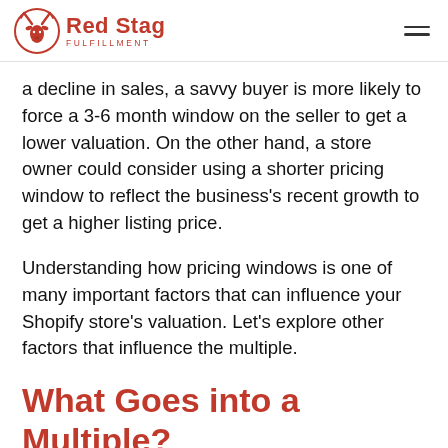Red Stag Fulfillment
a decline in sales, a savvy buyer is more likely to force a 3-6 month window on the seller to get a lower valuation. On the other hand, a store owner could consider using a shorter pricing window to reflect the business's recent growth to get a higher listing price.
Understanding how pricing windows is one of many important factors that can influence your Shopify store's valuation. Let's explore other factors that influence the multiple.
What Goes into a Multiple?
Several things affect the multiple value, and